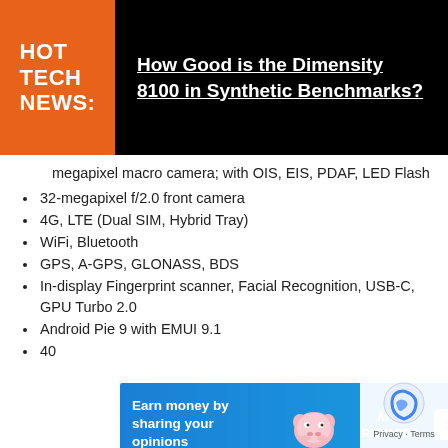HOT TECH NEWS: How Good is the Dimensity 8100 in Synthetic Benchmarks?
megapixel macro camera; with OIS, EIS, PDAF, LED Flash
32-megapixel f/2.0 front camera
4G, LTE (Dual SIM, Hybrid Tray)
WiFi, Bluetooth
GPS, A-GPS, GLONASS, BDS
In-display Fingerprint scanner, Facial Recognition, USB-C, GPU Turbo 2.0
Android Pie 9 with EMUI 9.1
40...
[Figure (infographic): Advertisement banner: Earn money by sharing your opinions. Mis Rewards. Sign Up button with pig mascot graphic.]
Huawei Nova 5i Specs
2.2GHz HiSilicon Kirin 710 octa-core processor